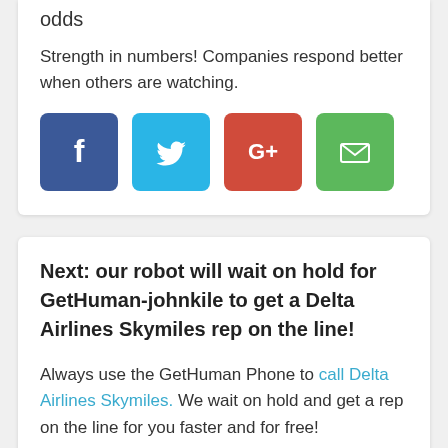odds
Strength in numbers! Companies respond better when others are watching.
[Figure (infographic): Four social sharing buttons: Facebook (blue), Twitter (light blue), Google+ (red), Email (green)]
Next: our robot will wait on hold for GetHuman-johnkile to get a Delta Airlines Skymiles rep on the line!
Always use the GetHuman Phone to call Delta Airlines Skymiles. We wait on hold and get a rep on the line for you faster and for free!